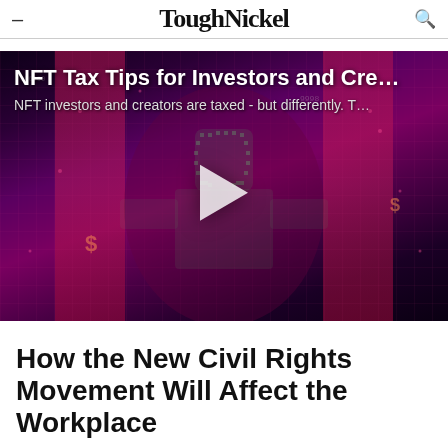ToughNickel
[Figure (screenshot): Video thumbnail with dark purple/pink background featuring a pixel/digital human silhouette, grid overlay and play button. Title overlay reads: NFT Tax Tips for Investors and Cre... / NFT investors and creators are taxed - but differently. T...]
How the New Civil Rights Movement Will Affect the Workplace